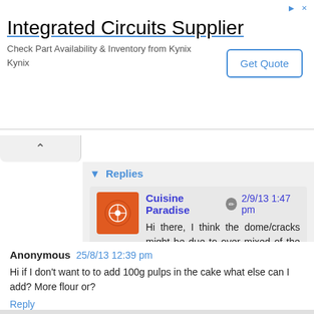[Figure (other): Advertisement banner for Integrated Circuits Supplier – Kynix, with Get Quote button]
Replies
Cuisine Paradise  2/9/13 1:47 pm
Hi there, I think the dome/cracks might be due to over mixed of the batter or the level of rack you place in the oven as in to near to the top.
Reply
Anonymous  25/8/13 12:39 pm
Hi if I don't want to to add 100g pulps in the cake what else can I add? More flour or?
Reply